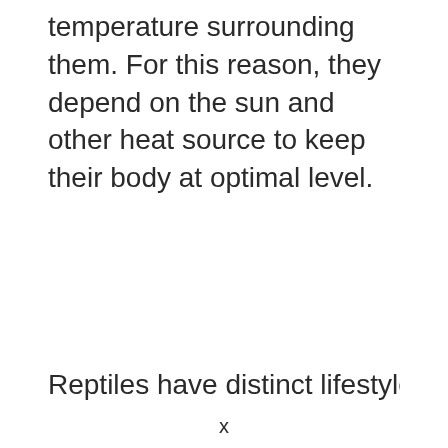temperature surrounding them. For this reason, they depend on the sun and other heat source to keep their body at optimal level.
Reptiles have distinct lifestyle f
x